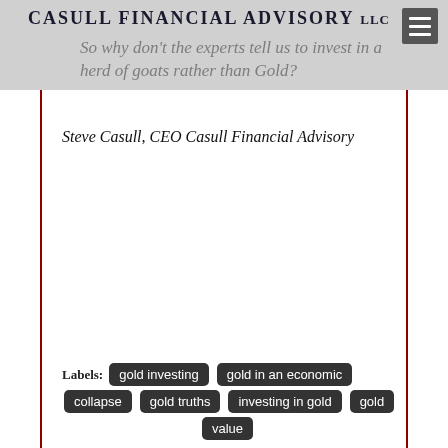CASULL FINANCIAL ADVISORY LLC
So why don't the experts tell us to invest in a herd of goats rather than Gold?
Steve Casull, CEO Casull Financial Advisory
Labels: gold investing  gold in an economic collapse  gold truths  investing in gold  gold value